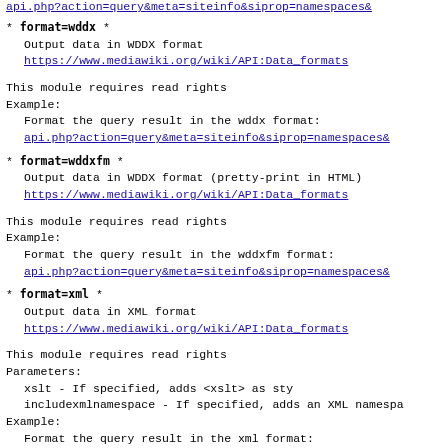api.php?action=query&meta=siteinfo&siprop=namespaces&...
* format=wddx *
    Output data in WDDX format
    https://www.mediawiki.org/wiki/API:Data_formats
This module requires read rights
Example:
  Format the query result in the wddx format:
    api.php?action=query&meta=siteinfo&siprop=namespaces&...
* format=wddxfm *
    Output data in WDDX format (pretty-print in HTML)
    https://www.mediawiki.org/wiki/API:Data_formats
This module requires read rights
Example:
  Format the query result in the wddxfm format:
    api.php?action=query&meta=siteinfo&siprop=namespaces&...
* format=xml *
    Output data in XML format
    https://www.mediawiki.org/wiki/API:Data_formats
This module requires read rights
Parameters:
  xslt             - If specified, adds <xslt> as sty...
  includexmlnamespace - If specified, adds an XML namespa...
Example:
  Format the query result in the xml format: